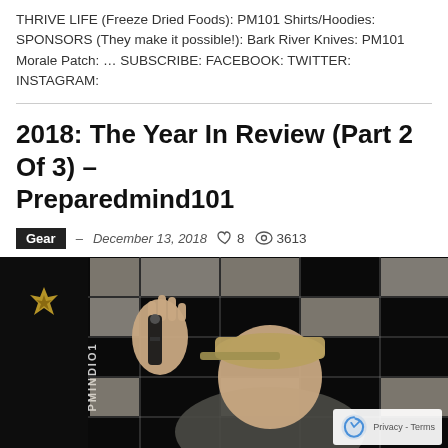THRIVE LIFE (Freeze Dried Foods): PM101 Shirts/Hoodies: SPONSORS (They make it possible!): Bark River Knives: PM101 Morale Patch: … SUBSCRIBE: FACEBOOK: TWITTER: INSTAGRAM:
2018: The Year In Review (Part 2 Of 3) – Preparedmind101
Gear – December 13, 2018  8  3613
[Figure (photo): Video thumbnail showing a person in a tan cap holding up a black flashlight/device, in front of a grid-pattern background, with a Preparedmind101 logo on the left side. A reCAPTCHA privacy badge is visible in the bottom right corner.]